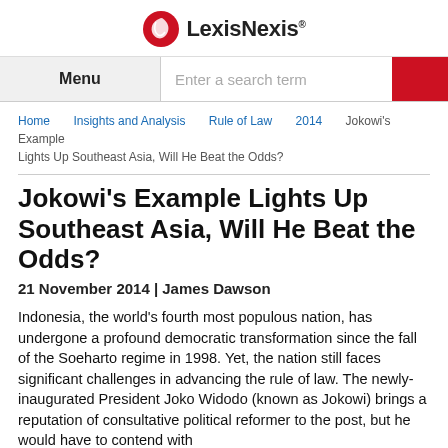[Figure (logo): LexisNexis logo with red bird icon and bold LexisNexis text]
Menu | Enter a search term
Home > Insights and Analysis > Rule of Law > 2014 > Jokowi's Example Lights Up Southeast Asia, Will He Beat the Odds?
Jokowi's Example Lights Up Southeast Asia, Will He Beat the Odds?
21 November 2014 | James Dawson
Indonesia, the world's fourth most populous nation, has undergone a profound democratic transformation since the fall of the Soeharto regime in 1998. Yet, the nation still faces significant challenges in advancing the rule of law. The newly-inaugurated President Joko Widodo (known as Jokowi) brings a reputation of consultative political reformer to the post, but he would have to contend with